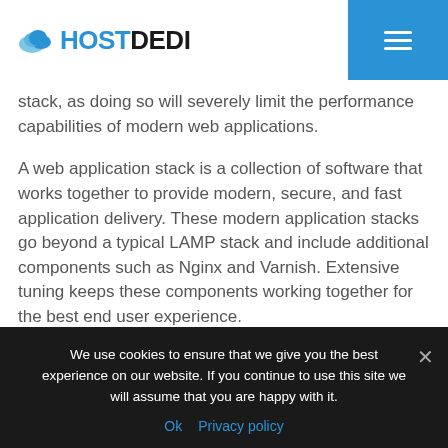HOSTDEDI
stack, as doing so will severely limit the performance capabilities of modern web applications.
A web application stack is a collection of software that works together to provide modern, secure, and fast application delivery. These modern application stacks go beyond a typical LAMP stack and include additional components such as Nginx and Varnish. Extensive tuning keeps these components working together for the best end user experience.
This article covers the different applications and technology that make up our Hostdedi Cloud web
We use cookies to ensure that we give you the best experience on our website. If you continue to use this site we will assume that you are happy with it.